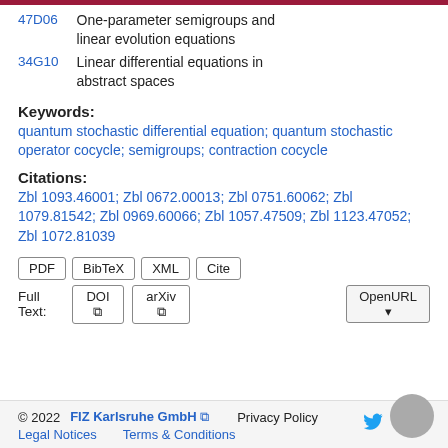| 47D06 | One-parameter semigroups and linear evolution equations |
| 34G10 | Linear differential equations in abstract spaces |
Keywords:
quantum stochastic differential equation; quantum stochastic operator cocycle; semigroups; contraction cocycle
Citations:
Zbl 1093.46001; Zbl 0672.00013; Zbl 0751.60062; Zbl 1079.81542; Zbl 0969.60066; Zbl 1057.47509; Zbl 1123.47052; Zbl 1072.81039
PDF BibTeX XML Cite
Full Text: DOI arXiv OpenURL
© 2022 FIZ Karlsruhe GmbH Privacy Policy Legal Notices Terms & Conditions